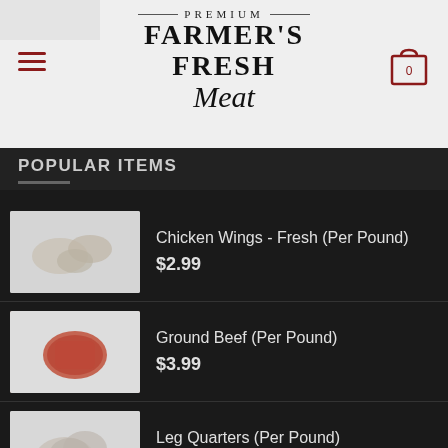[Figure (logo): Premium Farmer's Fresh Meat logo with hamburger menu icon and shopping cart icon]
POPULAR ITEMS
Chicken Wings - Fresh (Per Pound) $2.99
Ground Beef (Per Pound) $3.99
Leg Quarters (Per Pound) $0.99
Boneless Chicken Breast (Per Pound) $3.99
Whole Fresh Turkey